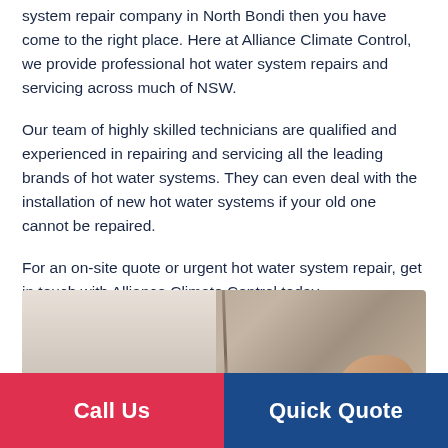system repair company in North Bondi then you have come to the right place. Here at Alliance Climate Control, we provide professional hot water system repairs and servicing across much of NSW.
Our team of highly skilled technicians are qualified and experienced in repairing and servicing all the leading brands of hot water systems. They can even deal with the installation of new hot water systems if your old one cannot be repaired.
For an on-site quote or urgent hot water system repair, get in touch with Alliance Climate Control today.
[Figure (photo): Photo of hot water system plumbing installation, showing pipes and a technician's hand]
Call Us
Quick Quote